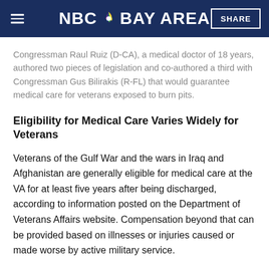NBC Bay Area
Congressman Raul Ruiz (D-CA), a medical doctor of 18 years, authored two pieces of legislation and co-authored a third with Congressman Gus Bilirakis (R-FL) that would guarantee medical care for veterans exposed to burn pits.
Eligibility for Medical Care Varies Widely for Veterans
Veterans of the Gulf War and the wars in Iraq and Afghanistan are generally eligible for medical care at the VA for at least five years after being discharged, according to information posted on the Department of Veterans Affairs website. Compensation beyond that can be provided based on illnesses or injuries caused or made worse by active military service.